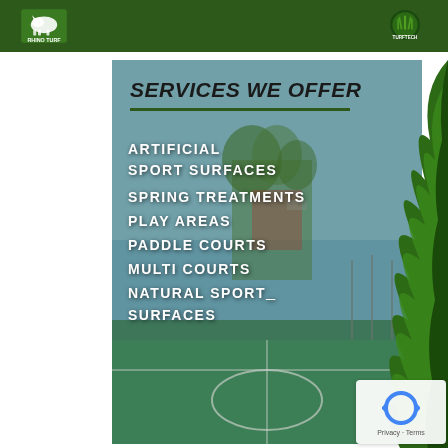[Figure (logo): Dark green header bar with Rhino Turf logo on left and Turftech logo on right]
SERVICES WE OFFER
[Figure (photo): Sports court facility photo with blue sky and trees in background, teal multi-sport court in foreground, overlaid with services text list]
ARTIFICIAL
SPORT SURFACES
SPRING TREATMENTS
PLAY AREAS
PADDLE COURTS
MULTI COURTS
NATURAL SPORT SURFACES